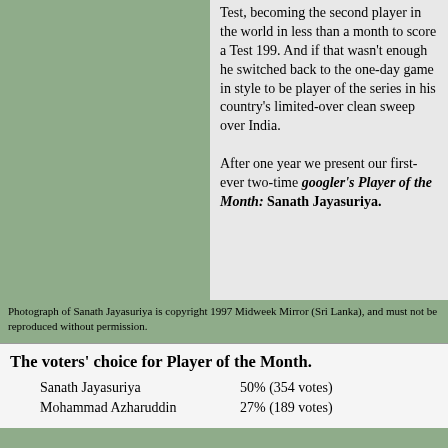Test, becoming the second player in the world in less than a month to score a Test 199. And if that wasn't enough he switched back to the one-day game in style to be player of the series in his country's limited-over clean sweep over India.

After one year we present our first-ever two-time googler's Player of the Month: Sanath Jayasuriya.
Photograph of Sanath Jayasuriya is copyright 1997 Midweek Mirror (Sri Lanka), and must not be reproduced without permission.
The voters' choice for Player of the Month.
Sanath Jayasuriya    50% (354 votes)
Mohammad Azharuddin 27% (189 votes)